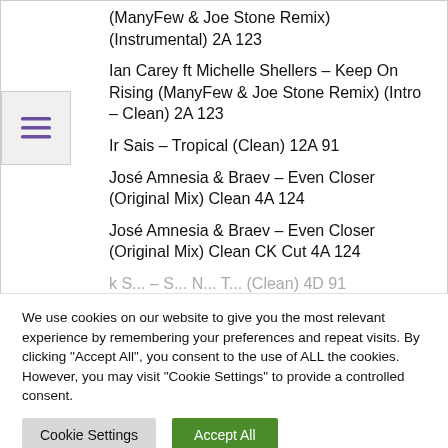(ManyFew & Joe Stone Remix) (Instrumental) 2A 123
Ian Carey ft Michelle Shellers – Keep On Rising (ManyFew & Joe Stone Remix) (Intro – Clean) 2A 123
Ir Sais – Tropical (Clean) 12A 91
José Amnesia & Braev – Even Closer (Original Mix) Clean 4A 124
José Amnesia & Braev – Even Closer (Original Mix) Clean CK Cut 4A 124
We use cookies on our website to give you the most relevant experience by remembering your preferences and repeat visits. By clicking "Accept All", you consent to the use of ALL the cookies. However, you may visit "Cookie Settings" to provide a controlled consent.
Cookie Settings | Accept All